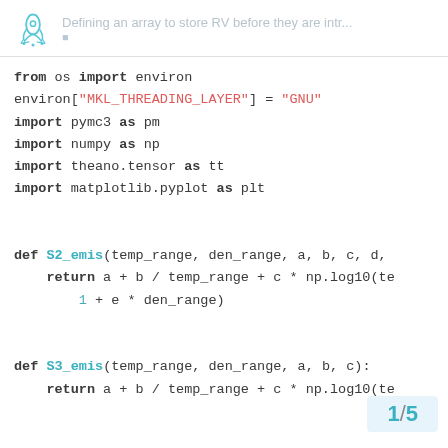Defining an array to store RV before they are intr...
from os import environ
environ["MKL_THREADING_LAYER"] = "GNU"
import pymc3 as pm
import numpy as np
import theano.tensor as tt
import matplotlib.pyplot as plt

def S2_emis(temp_range, den_range, a, b, c, d,
    return a + b / temp_range + c * np.log10(te
        1 + e * den_range)

def S3_emis(temp_range, den_range, a, b, c):
    return a + b / temp_range + c * np.log10(te

def S2_emis_tt(temp_range, den_
1 / 5